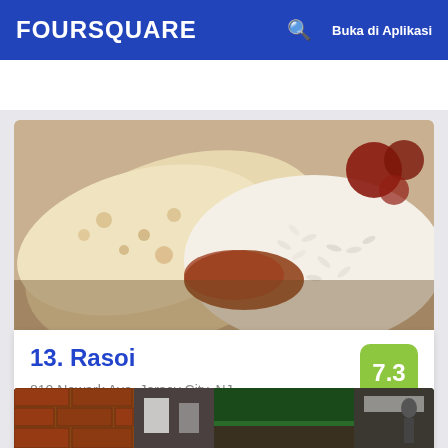FOURSQUARE | Buka di Aplikasi
[Figure (photo): Close-up photo of Indian food: naan bread and white rice with curry/sauce on a plate]
13. Rasoi
810 Newark Ave, Jersey City, NJ
Restoran India · Journal Square · 27 tips dan ulasan
[Figure (photo): Street view photo of a restaurant building exterior with brick walls and signage]